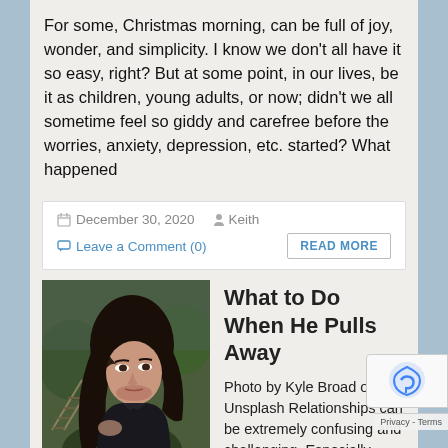For some, Christmas morning, can be full of joy, wonder, and simplicity. I know we don't all have it so easy, right? But at some point, in our lives, be it as children, young adults, or now; didn't we all sometime feel so giddy and carefree before the worries, anxiety, depression, etc. started? What happened
December 30, 2020   Keith   Leave a Comment (0)   READ MORE
[Figure (photo): A young woman with long dark hair looking pensively to the side, outdoors near what appears to be railroad tracks with green foliage in background]
What to Do When He Pulls Away
Photo by Kyle Broad on Unsplash Relationships can be extremely confusing and challenging. Especially, when the man you are interested in pulls away just as things seem to be going smoothly. Women are often left wondering "what should I do now?"  To avoid this